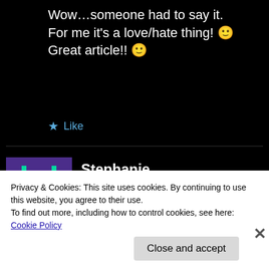Wow…someone had to say it. For me it's a love/hate thing! 🙂 Great article!! 🙂
★ Like
Stephanie
8 years ago
[Figure (illustration): Pixel art avatar of a green space invader robot on purple background]
If you hate Nola so much leave but no you can't you come right
Privacy & Cookies: This site uses cookies. By continuing to use this website, you agree to their use.
To find out more, including how to control cookies, see here: Cookie Policy
Close and accept